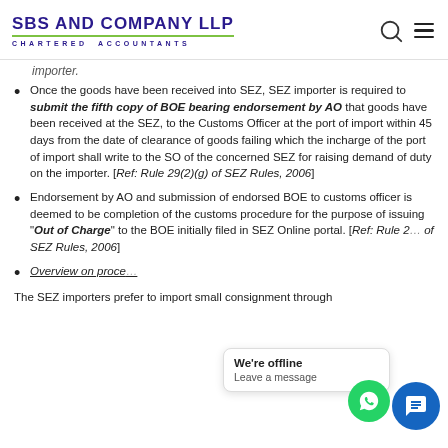SBS AND COMPANY LLP CHARTERED ACCOUNTANTS
importer.
Once the goods have been received into SEZ, SEZ importer is required to submit the fifth copy of BOE bearing endorsement by AO that goods have been received at the SEZ, to the Customs Officer at the port of import within 45 days from the date of clearance of goods failing which the incharge of the port of import shall write to the SO of the concerned SEZ for raising demand of duty on the importer. [Ref: Rule 29(2)(g) of SEZ Rules, 2006]
Endorsement by AO and submission of endorsed BOE to customs officer is deemed to be completion of the customs procedure for the purpose of issuing "Out of Charge" to the BOE initially filed in SEZ Online portal. [Ref: Rule 29(2)(h) of SEZ Rules, 2006]
Overview on proce...
The SEZ importers prefer to import small consignment through